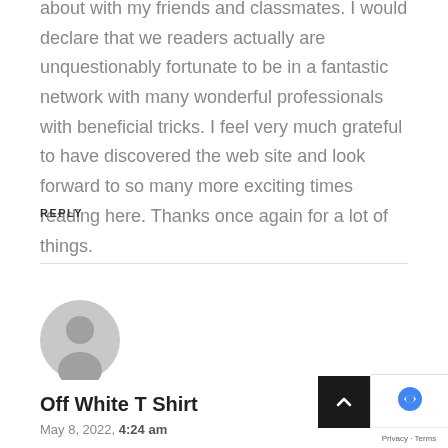about with my friends and classmates. I would declare that we readers actually are unquestionably fortunate to be in a fantastic network with many wonderful professionals with beneficial tricks. I feel very much grateful to have discovered the web site and look forward to so many more exciting times reading here. Thanks once again for a lot of things.
REPLY
[Figure (illustration): Default user avatar placeholder - grey circular icon with a generic person silhouette]
Off White T Shirt
May 8, 2022, 4:24 am
My husband and i ended up being very relieved when...